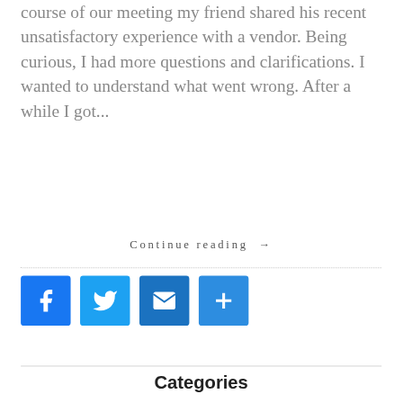course of our meeting my friend shared his recent unsatisfactory experience with a vendor. Being curious, I had more questions and clarifications. I wanted to understand what went wrong. After a while I got...
Continue reading →
[Figure (other): Social sharing buttons: Facebook (blue), Twitter (light blue), Email (blue), Share/Plus (blue)]
Categories
General
Life
Work
Distinguish